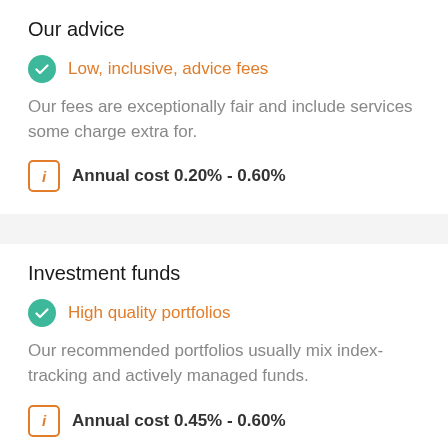Our advice
Low, inclusive, advice fees
Our fees are exceptionally fair and include services some charge extra for.
Annual cost 0.20% - 0.60%
Investment funds
High quality portfolios
Our recommended portfolios usually mix index-tracking and actively managed funds.
Annual cost 0.45% - 0.60%